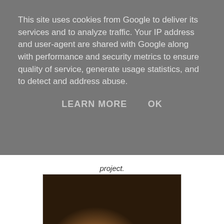This site uses cookies from Google to deliver its services and to analyze traffic. Your IP address and user-agent are shared with Google along with performance and security metrics to ensure quality of service, generate usage statistics, and to detect and address abuse.
LEARN MORE    OK
project.
[Figure (photo): A person sitting in the back seat of a car, looking upward, with trees visible through the car window in the background.]
At journey like these, expectations are growing with every kilometer/mile.
[Figure (photo): Partial photo visible at the bottom of the page, showing what appears to be a reddish-brown wooden structure or building.]